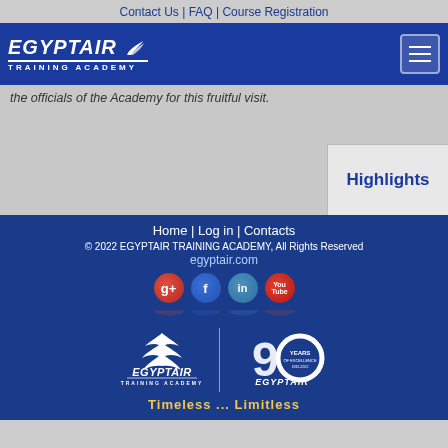Contact Us | FAQ | Course Registration
[Figure (logo): EGYPTAIR Training Academy logo with eagle icon on blue navigation bar with hamburger menu]
the officials of the Academy for this fruitful visit.
Highlights
Home | Log in | Contacts
© 2022 EGYPTAIR TRAINING ACADEMY, All Rights Reserved
egyptair.com
[Figure (logo): EGYPTAIR Training Academy footer logos: left side shows EGYPTAIR Training Academy logo, right side shows 90 Years EGYPTAIR anniversary logo. Social media icons for Google+, Facebook, LinkedIn, YouTube above logos. Tagline: Timeless ... Limitless]